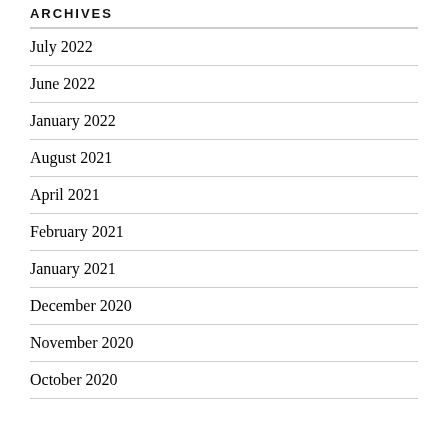ARCHIVES
July 2022
June 2022
January 2022
August 2021
April 2021
February 2021
January 2021
December 2020
November 2020
October 2020